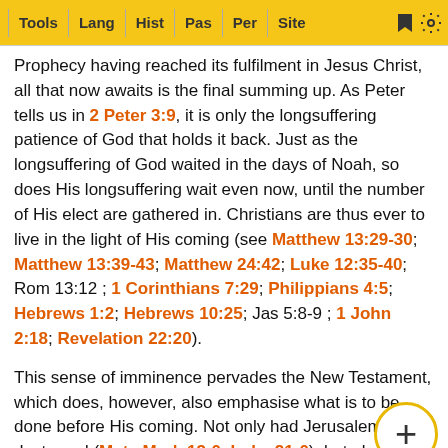Tools | Lang | Hist | Pas | Per | Site
Prophecy having reached its fulfilment in Jesus Christ, all that now awaits is the final summing up. As Peter tells us in 2 Peter 3:9, it is only the longsuffering patience of God that holds it back. Just as the longsuffering of God waited in the days of Noah, so does His longsuffering wait even now, until the number of His elect are gathered in. Christians are thus ever to live in the light of His coming (see Matthew 13:29-30; Matthew 13:39-43; Matthew 24:42; Luke 12:35-40; Rom 13:12 ; 1 Corinthians 7:29; Philippians 4:5; Hebrews 1:2; Hebrews 10:25; Jas 5:8-9 ; 1 John 2:18; Revelation 22:20).
This sense of imminence pervades the New Testament, which does, however, also emphasise what is to be done before His coming. Not only had Jerusalem to be destroyed (Matthew 24; Mark 13:0; Luke 21:0), but also the Gospel was to reach out ‘to all nations’ (Mark 13:10; Matthew 24:14), and the Je... ...ld sactte... ...f